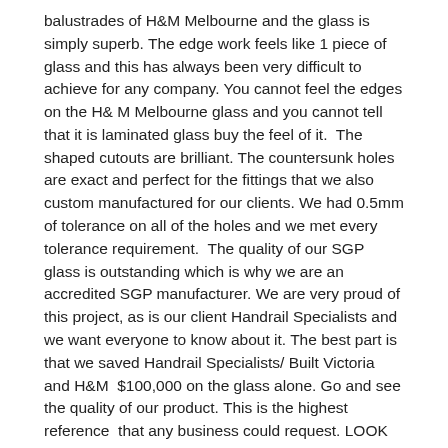balustrades of H&M Melbourne and the glass is simply superb. The edge work feels like 1 piece of glass and this has always been very difficult to achieve for any company. You cannot feel the edges on the H& M Melbourne glass and you cannot tell that it is laminated glass buy the feel of it.  The shaped cutouts are brilliant. The countersunk holes are exact and perfect for the fittings that we also custom manufactured for our clients. We had 0.5mm of tolerance on all of the holes and we met every tolerance requirement.  The quality of our SGP glass is outstanding which is why we are an accredited SGP manufacturer. We are very proud of this project, as is our client Handrail Specialists and we want everyone to know about it. The best part is that we saved Handrail Specialists/ Built Victoria and H&M  $100,000 on the glass alone. Go and see the quality of our product. This is the highest reference  that any business could request. LOOK at our glass and make an informed decision on whether you want to consider us to supply your next SGP project. Bruce Gillard from Handrail Specialists  commented "  This glass has exceeded our expectations. It is beautiful glass and very well manufactured. The edge work is outstanding and the countersunk